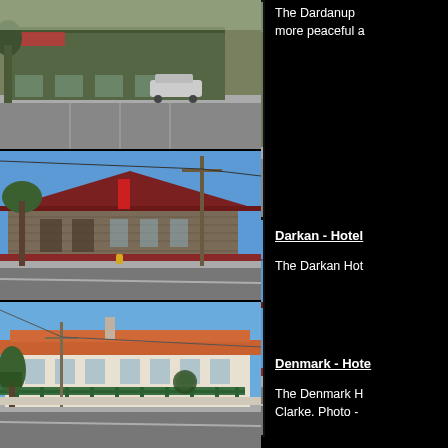[Figure (photo): Street view photo of a commercial building/shop in Dardanup, with a white car parked in front on a wide road]
The Dardanup more peaceful a
[Figure (photo): Photo of the Darkan Hotel, a stone and timber hotel with dark red roof, on a street corner with a power pole]
Darkan - Hotel
The Darkan Hot
[Figure (photo): Photo of the Denmark Hotel, a large white building with terra cotta roof and green veranda, at a street corner]
Denmark - Hote
The Denmark H Clarke. Photo -